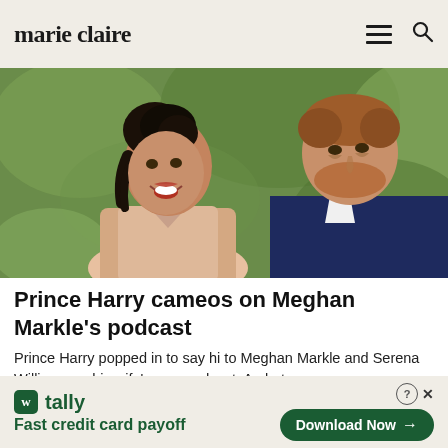marie claire
[Figure (photo): Photo of Meghan Markle and Prince Harry looking at each other outdoors, with blurred green background. Meghan wears a pink top, Harry wears a navy suit.]
Prince Harry cameos on Meghan Markle's podcast
Prince Harry popped in to say hi to Meghan Markle and Serena Williams on his wife's new podcast, Archetypes, ...
Marie Claire
[Figure (infographic): Advertisement banner for Tally app. Shows Tally logo with green W icon, text 'Fast credit card payoff', and a green 'Download Now' button with arrow. Close button (question mark circle and X) in top right.]